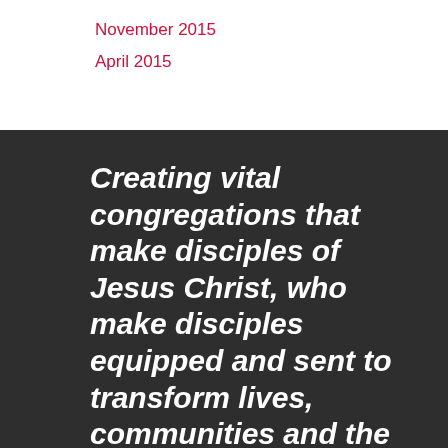November 2015
April 2015
Creating vital congregations that make disciples of Jesus Christ, who make disciples equipped and sent to transform lives, communities and the world!